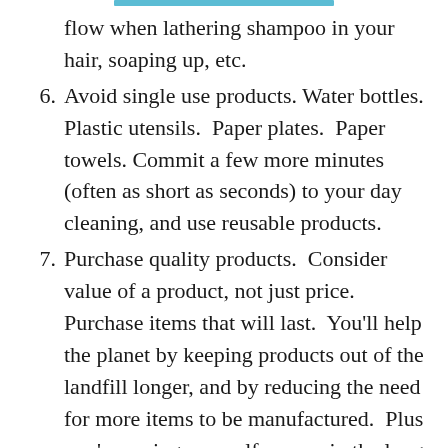flow when lathering shampoo in your hair, soaping up, etc.
6. Avoid single use products. Water bottles. Plastic utensils. Paper plates. Paper towels. Commit a few more minutes (often as short as seconds) to your day cleaning, and use reusable products.
7. Purchase quality products. Consider value of a product, not just price. Purchase items that will last. You’ll help the planet by keeping products out of the landfill longer, and by reducing the need for more items to be manufactured. Plus you’re saving yourself money in the long run.
8. Donate good condition items that you no longer want or need. Keep these unwanted